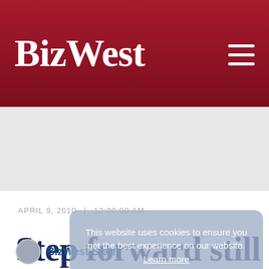BizWest
APRIL 9, 2010  |  12:00:00 AM
Step forward still tech-years behind
BizWest Staff
This website uses cookies to ensure you get the best experience on our website. Learn more